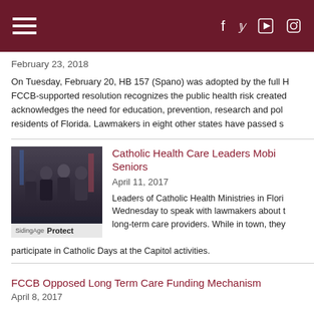February 23, 2018
On Tuesday, February 20, HB 157 (Spano) was adopted by the full H... FCCB-supported resolution recognizes the public health risk created... acknowledges the need for education, prevention, research and pol... residents of Florida. Lawmakers in eight other states have passed s...
[Figure (photo): Group of four men in suits standing at a podium with a sign reading 'Protect']
Catholic Health Care Leaders Mobi... Seniors
April 11, 2017
Leaders of Catholic Health Ministries in Flori... Wednesday to speak with lawmakers about t... long-term care providers. While in town, they... participate in Catholic Days at the Capitol activities.
FCCB Opposed Long Term Care Funding Mechanism...
April 8, 2017